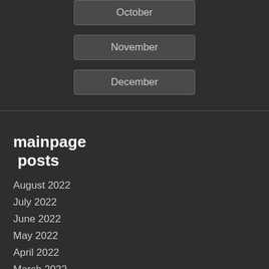October
November
December
mainpage posts
August 2022
July 2022
June 2022
May 2022
April 2022
March 2022
February 2022
January 2022
December 2021